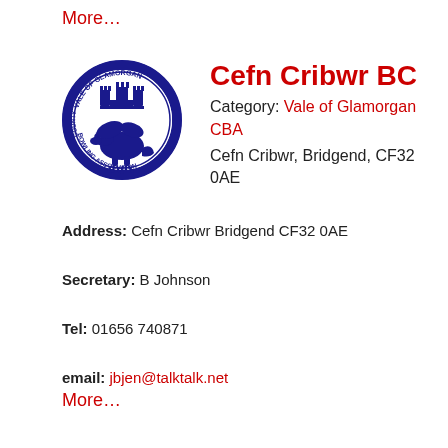More…
Cefn Cribwr BC
Category: Vale of Glamorgan CBA
Cefn Cribwr, Bridgend, CF32 0AE
[Figure (logo): Vale of Glamorgan County Bowling Association circular badge logo in blue, featuring a dragon and castle with text around the border]
Address: Cefn Cribwr Bridgend CF32 0AE
Secretary: B Johnson
Tel: 01656 740871
email: jbjen@talktalk.net
More…